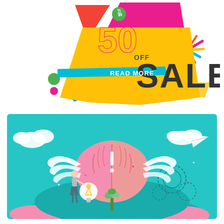[Figure (illustration): Colorful sale banner with geometric shapes showing '50% OFF SALE READ MORE' text in bold colors including yellow, pink/red, cyan, and green]
[Figure (illustration): Flat design illustration on teal background showing a large pink brain with white wings, a lightbulb, a person, a plant, gears, clouds, and a paper airplane]